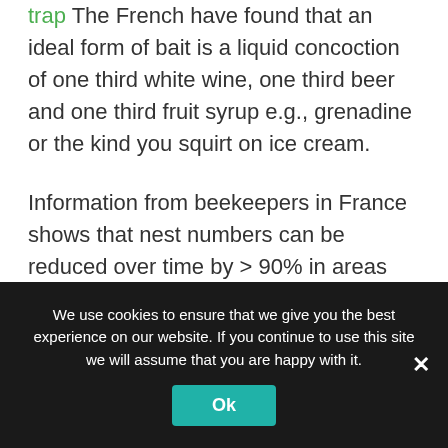trap The French have found that an ideal form of bait is a liquid concoction of one third white wine, one third beer and one third fruit syrup e.g., grenadine or the kind you squirt on ice cream.
Information from beekeepers in France shows that nest numbers can be reduced over time by > 90% in areas where traps are deployed in springtime coupled with IPM techniques and nest location and destruction. Should the Asian hornets become established in the UK, springtime trapping will thus
We use cookies to ensure that we give you the best experience on our website. If you continue to use this site we will assume that you are happy with it.